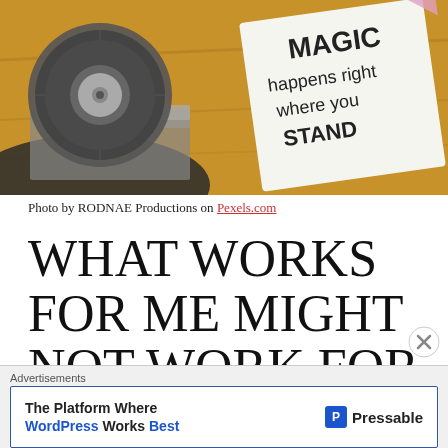[Figure (photo): Photo showing a desk/shelf with a circular record or disc, some books/magazines, and a handwritten card reading 'MAGIC happens right where you STAND' on a wooden surface.]
Photo by RODNAE Productions on Pexels.com
WHAT WORKS FOR ME MIGHT NOT WORK FOR YOU.
I think with any addiction, we cannot say one
Advertisements
The Platform Where WordPress Works Best   Pressable